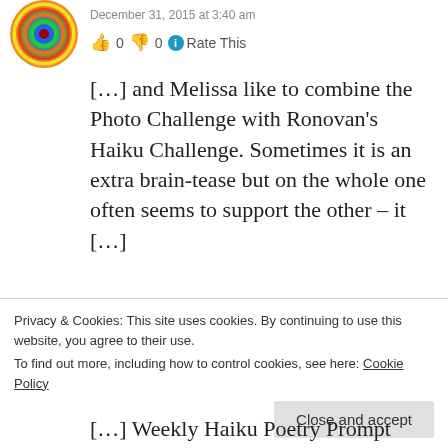[Figure (illustration): Circular rainbow-colored avatar icon]
December 31, 2015 at 3:40 am
👍 0 👎 0 ℹ Rate This
[…] and Melissa like to combine the Photo Challenge with Ronovan's Haiku Challenge. Sometimes it is an extra brain-tease but on the whole one often seems to support the other – it […]
★ Like
[Figure (photo): Partial view of a second commenter's avatar photo]
Privacy & Cookies: This site uses cookies. By continuing to use this website, you agree to their use.
To find out more, including how to control cookies, see here: Cookie Policy
Close and accept
[…] Weekly Haiku Poetry Prompt